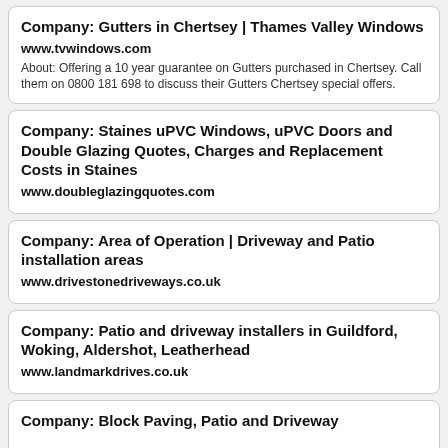Company: Gutters in Chertsey | Thames Valley Windows
www.tvwindows.com
About: Offering a 10 year guarantee on Gutters purchased in Chertsey. Call them on 0800 181 698 to discuss their Gutters Chertsey special offers.
Company: Staines uPVC Windows, uPVC Doors and Double Glazing Quotes, Charges and Replacement Costs in Staines
www.doubleglazingquotes.com
Company: Area of Operation | Driveway and Patio installation areas
www.drivestonedriveways.co.uk
Company: Patio and driveway installers in Guildford, Woking, Aldershot, Leatherhead
www.landmarkdrives.co.uk
Company: Block Paving, Patio and Driveway